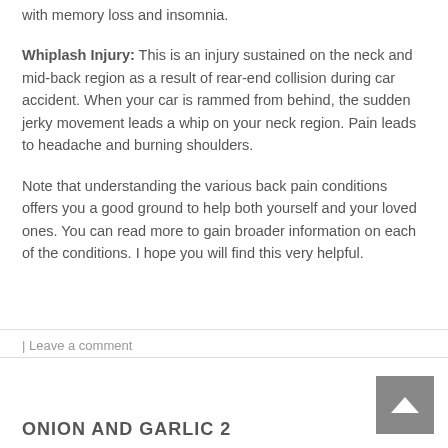with memory loss and insomnia.
Whiplash Injury: This is an injury sustained on the neck and mid-back region as a result of rear-end collision during car accident. When your car is rammed from behind, the sudden jerky movement leads a whip on your neck region. Pain leads to headache and burning shoulders.
Note that understanding the various back pain conditions offers you a good ground to help both yourself and your loved ones. You can read more to gain broader information on each of the conditions. I hope you will find this very helpful.
| Leave a comment
ONION AND GARLIC 2